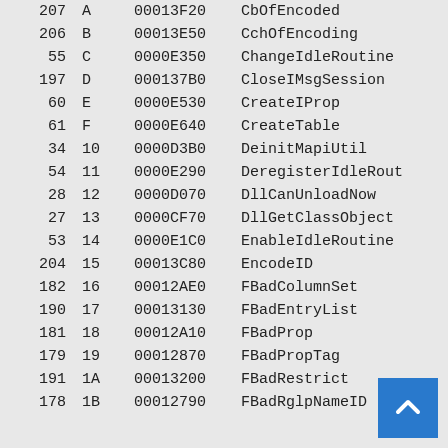| Ordinal | Hex | Address | Name |
| --- | --- | --- | --- |
| 207 | A | 00013F20 | CbOfEncoded |
| 206 | B | 00013E50 | CchOfEncoding |
| 55 | C | 0000E350 | ChangeIdleRoutine |
| 197 | D | 000137B0 | CloseIMsgSession |
| 60 | E | 0000E530 | CreateIProp |
| 61 | F | 0000E640 | CreateTable |
| 34 | 10 | 0000D3B0 | DeinitMapiUtil |
| 54 | 11 | 0000E290 | DeregisterIdleRout |
| 28 | 12 | 0000D070 | DllCanUnloadNow |
| 27 | 13 | 0000CF70 | DllGetClassObject |
| 53 | 14 | 0000E1C0 | EnableIdleRoutine |
| 204 | 15 | 00013C80 | EncodeID |
| 182 | 16 | 00012AE0 | FBadColumnSet |
| 190 | 17 | 00013130 | FBadEntryList |
| 181 | 18 | 00012A10 | FBadProp |
| 179 | 19 | 00012870 | FBadPropTag |
| 191 | 1A | 00013200 | FBadRestrict |
| 178 | 1B | 00012790 | FBadRglpNameID |